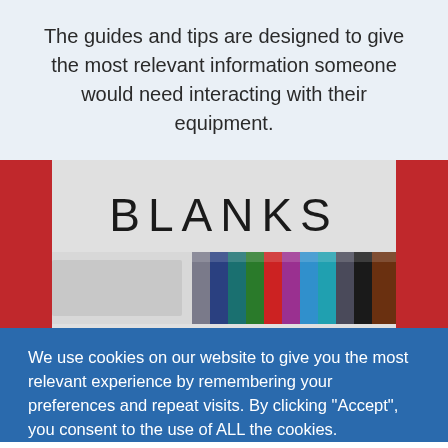The guides and tips are designed to give the most relevant information someone would need interacting with their equipment.
[Figure (photo): A sign reading 'BLANKS' in large letters above an image of colorful pencils or pens arranged side by side, framed by red bars on either side.]
We use cookies on our website to give you the most relevant experience by remembering your preferences and repeat visits. By clicking "Accept", you consent to the use of ALL the cookies.
Cookie settings   ACCEPT